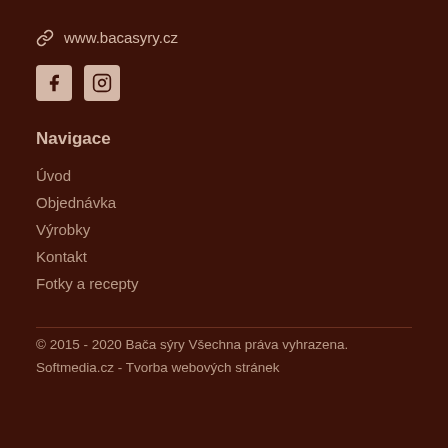www.bacasyry.cz
[Figure (other): Facebook and Instagram social media icons]
Navigace
Úvod
Objednávka
Výrobky
Kontakt
Fotky a recepty
© 2015 - 2020 Bača sýry Všechna práva vyhrazena.
Softmedia.cz - Tvorba webových stránek